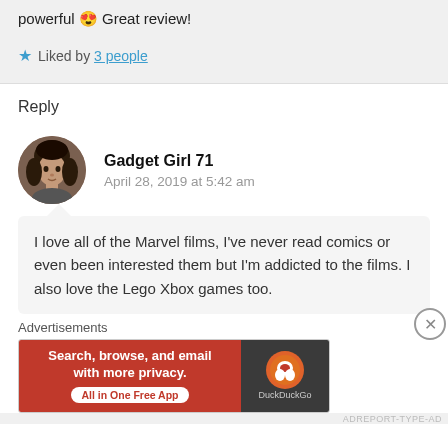powerful 😍 Great review!
★ Liked by 3 people
Reply
Gadget Girl 71
April 28, 2019 at 5:42 am
[Figure (photo): Circular avatar photo of a woman with dark hair]
I love all of the Marvel films, I've never read comics or even been interested them but I'm addicted to the films. I also love the Lego Xbox games too.
Advertisements
[Figure (screenshot): DuckDuckGo advertisement banner: 'Search, browse, and email with more privacy. All in One Free App' with DuckDuckGo logo on dark background]